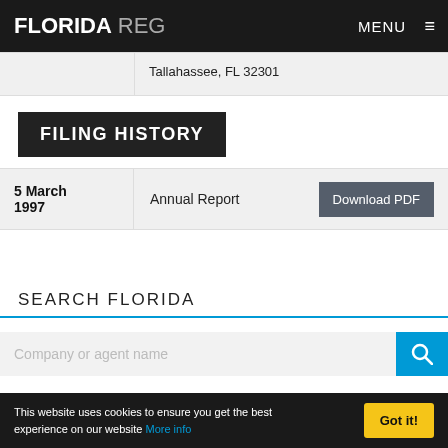FLORIDA REG   MENU ≡
Tallahassee, FL 32301
FILING HISTORY
| Date | Type | Action |
| --- | --- | --- |
| 5 March 1997 | Annual Report | Download PDF |
SEARCH FLORIDA
Company or agent name
This website uses cookies to ensure you get the best experience on our website More Info   Got it!